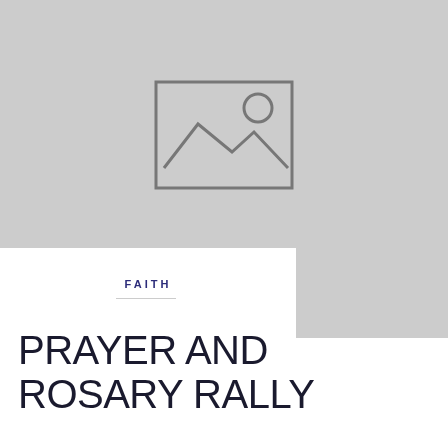[Figure (illustration): Placeholder image icon — a grey rectangle containing a mountain/landscape icon with a circle (sun) in the upper right, all in grey outline style, on a grey background.]
FAITH
PRAYER AND ROSARY RALLY